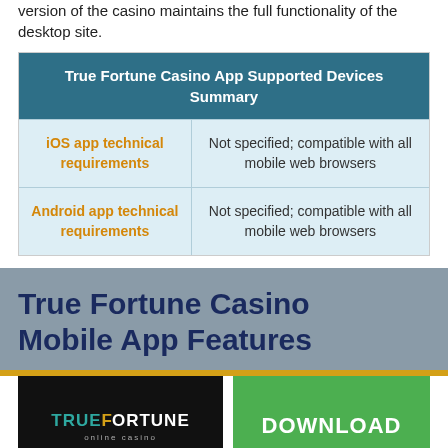version of the casino maintains the full functionality of the desktop site.
| True Fortune Casino App Supported Devices Summary |
| --- |
| iOS app technical requirements | Not specified; compatible with all mobile web browsers |
| Android app technical requirements | Not specified; compatible with all mobile web browsers |
True Fortune Casino Mobile App Features
[Figure (logo): True Fortune online casino logo on black background]
[Figure (other): Green DOWNLOAD button]